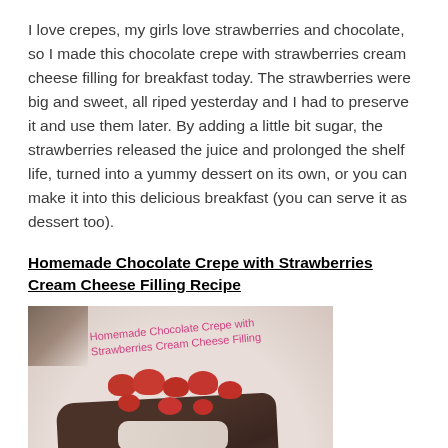I love crepes, my girls love strawberries and chocolate, so I made this chocolate crepe with strawberries cream cheese filling for breakfast today. The strawberries were big and sweet, all riped yesterday and I had to preserve it and use them later. By adding a little bit sugar, the strawberries released the juice and prolonged the shelf life, turned into a yummy dessert on its own, or you can make it into this delicious breakfast (you can serve it as dessert too).
Homemade Chocolate Crepe with Strawberries Cream Cheese Filling Recipe
[Figure (photo): A photo of a chocolate crepe filled with strawberries cream cheese, topped with fresh strawberries, on a white plate. A pink handwritten label reads 'Homemade Chocolate Crepe with Strawberries Cream Cheese Filling' overlaid on the image. The top-left corner shows a dark diagonal fold.]